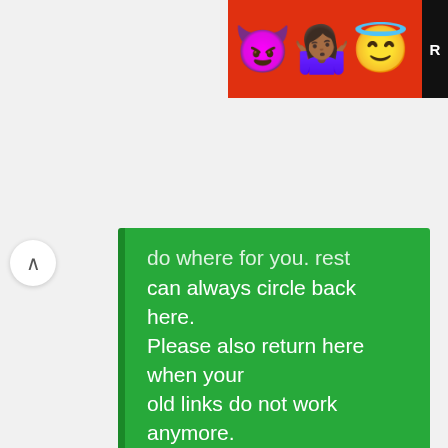[Figure (screenshot): Top banner with emoji characters (devil, person shrugging, angel) on a red/orange background with a dark label on the right edge]
...do where for you. rest another you can always circle back here. Please also return here when your old links do not work anymore.